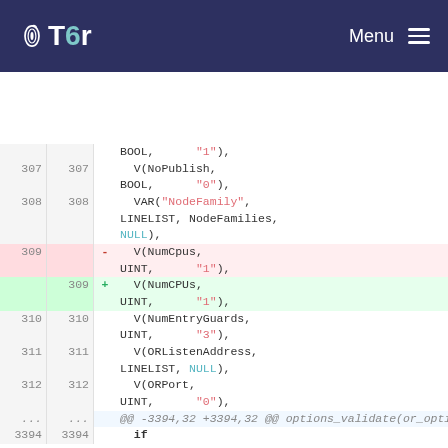Tor | Menu
| left-line | right-line | marker | code |
| --- | --- | --- | --- |
|  |  |  | BOOL,      "1"), |
| 307 | 307 |  |   V(NoPublish, |
|  |  |  | BOOL,      "0"), |
| 308 | 308 |  |   VAR("NodeFamily", |
|  |  |  | LINELIST, NodeFamilies, |
|  |  |  | NULL), |
| 309 |  | - |   V(NumCpus, |
|  |  |  | UINT,      "1"), |
|  | 309 | + |   V(NumCPUs, |
|  |  |  | UINT,      "1"), |
| 310 | 310 |  |   V(NumEntryGuards, |
|  |  |  | UINT,      "3"), |
| 311 | 311 |  |   V(ORListenAddress, |
|  |  |  | LINELIST, NULL), |
| 312 | 312 |  |   V(ORPort, |
|  |  |  | UINT,      "0"), |
| ... | ... |  | @@ -3394,32 +3394,32 @@ options_validate(or_options_t *old_options, or_options_t *options, |
| 3394 | 3394 |  |   if |